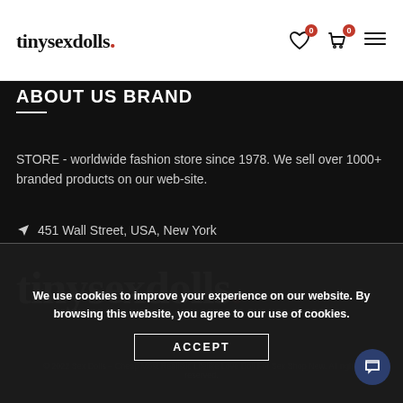tinysexdolls. [navigation bar with wishlist badge 0, cart badge 0, menu icon]
ABOUT US BRAND
STORE - worldwide fashion store since 1978. We sell over 1000+ branded products on our web-site.
451 Wall Street, USA, New York
[Figure (logo): tinysexdolls. logo in large white cursive script with red dot on black background]
We use cookies to improve your experience on our website. By browsing this website, you agree to our use of cookies.
ACCEPT
© 2022 Sex Dolls - Cheap Most Realistic Lifelike Love Doll For Sex Shop New. All rights reserved.